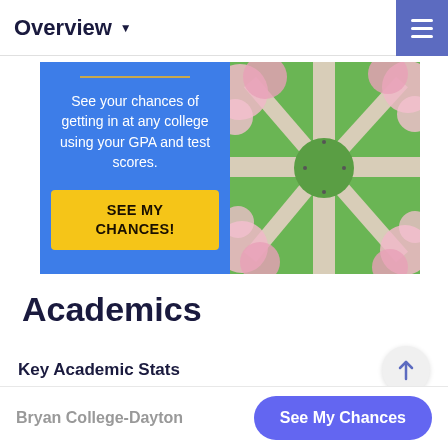Overview
[Figure (infographic): Advertisement banner with blue left panel containing gold divider line, white text 'See your chances of getting in at any college using your GPA and test scores.' and yellow 'SEE MY CHANCES!' button. Right panel shows aerial photo of a college campus with green lawns, paths, and pink cherry blossom trees.]
Academics
Key Academic Stats
Bryan College-Dayton  See My Chances